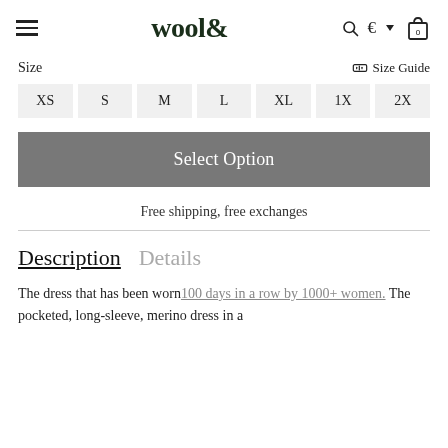wool& — navigation header with hamburger menu, logo, search, currency selector, and cart
Size
Size Guide
XS
S
M
L
XL
1X
2X
Select Option
Free shipping, free exchanges
Description    Details
The dress that has been worn 100 days in a row by 1000+ women. The pocketed, long-sleeve, merino dress in a